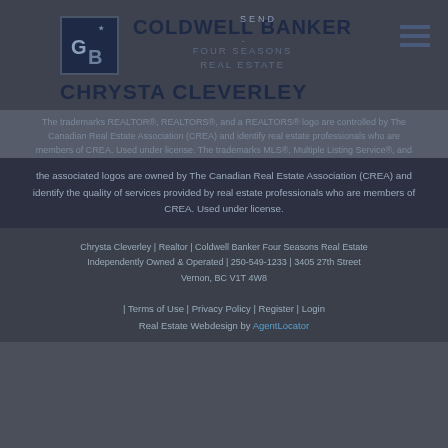[Figure (logo): Coldwell Banker logo square with GB initials and star, dark navy background]
COLDWELL BANKER
FOUR SEASONS
REAL ESTATE
CHRYSTA CLEVERLEY
The trademarks REALTOR®, REALTORS®, and a REALTORS® logo are controlled by the Canadian Real Estate Association (CREA) and identify real estate professionals who are members of CREA. Used under license. The trademarks MLS®, Multiple Listing Service®, and the associated logos are owned by The Canadian Real Estate Association (CREA) and identify the quality of services provided by real estate professionals who are members of CREA. Used under license.
Chrysta Cleverley | Realtor | Coldwell Banker Four Seasons Real Estate Independently Owned & Operated | 250-549-1233 | 3405 27th Street Vernon, BC V1T 4W8
| Terms of Use | Privacy Policy | Register | Login
Real Estate Webdesign by AgentLocator